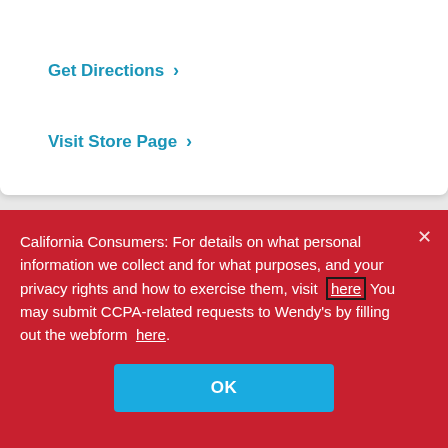Get Directions >
Visit Store Page >
7985 Craft - Goodman Rd >
Open Until 12:00 AM
7985 Craft - Goodman Rd
Olive Branch, MS 38654
California Consumers: For details on what personal information we collect and for what purposes, and your privacy rights and how to exercise them, visit here You may submit CCPA-related requests to Wendy's by filling out the webform here.
OK